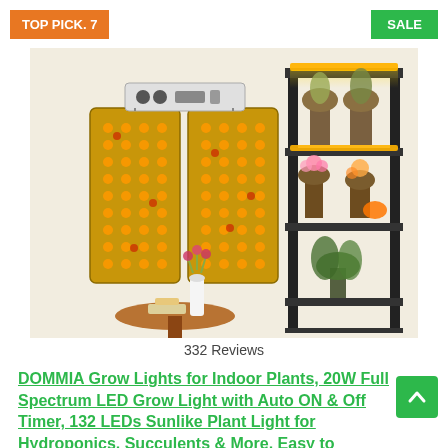TOP PICK. 7
SALE
[Figure (photo): Product photo of DOMMIA grow lights: two flat LED panels with warm orange/yellow LEDs shown on the left, and a metal shelving unit with plants illuminated by grow lights on the right. A small round table with a vase of flowers is in the foreground.]
332 Reviews
DOMMIA Grow Lights for Indoor Plants, 20W Full Spectrum LED Grow Light with Auto ON & Off Timer, 132 LEDs Sunlike Plant Light for Hydroponics, Succulents & More, Easy to Assemble-2Pcs